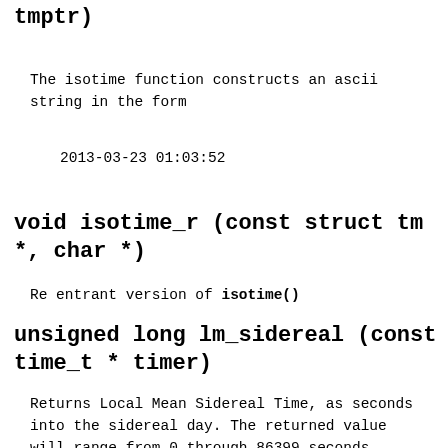tmptr)
The isotime function constructs an ascii string in the form
2013-03-23 01:03:52
void isotime_r (const struct tm *, char *)
Re entrant version of isotime()
unsigned long lm_sidereal (const time_t * timer)
Returns Local Mean Sidereal Time, as seconds into the sidereal day. The returned value will range from 0 through 86399 seconds.